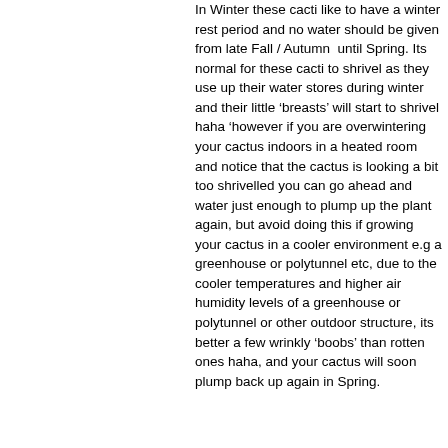In Winter these cacti like to have a winter rest period and no water should be given from late Fall / Autumn  until Spring. Its normal for these cacti to shrivel as they use up their water stores during winter and their little ‘breasts’ will start to shrivel haha ‘however if you are overwintering your cactus indoors in a heated room and notice that the cactus is looking a bit too shrivelled you can go ahead and water just enough to plump up the plant again, but avoid doing this if growing your cactus in a cooler environment e.g a greenhouse or polytunnel etc, due to the cooler temperatures and higher air humidity levels of a greenhouse or polytunnel or other outdoor structure, its better a few wrinkly ‘boobs’ than rotten ones haha, and your cactus will soon plump back up again in Spring.